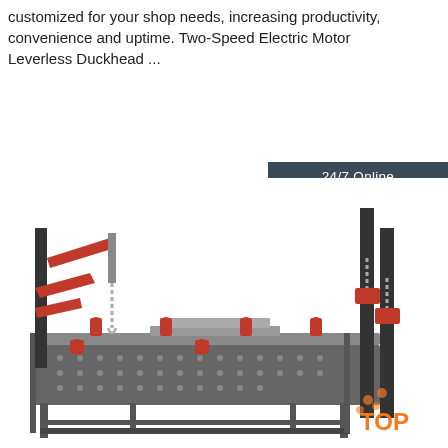customized for your shop needs, increasing productivity, convenience and uptime. Two-Speed Electric Motor Leverless Duckhead ...
Get Price
[Figure (photo): Customer service representative wearing headset with '24/7 Online' label and 'Click here for free chat!' text with QUOTATION button]
[Figure (photo): Auto body frame straightening machine / car bench with red clamps and uprights on a perforated steel platform. TOP logo visible.]